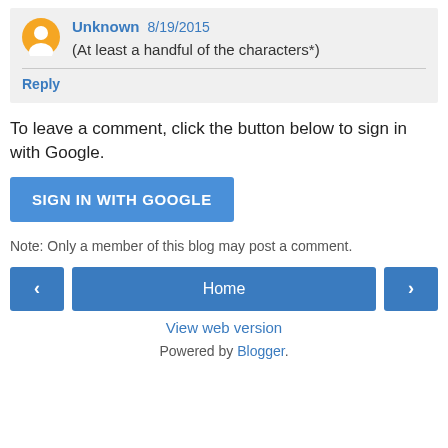Unknown 8/19/2015 (At least a handful of the characters*)
Reply
To leave a comment, click the button below to sign in with Google.
SIGN IN WITH GOOGLE
Note: Only a member of this blog may post a comment.
Home
View web version
Powered by Blogger.